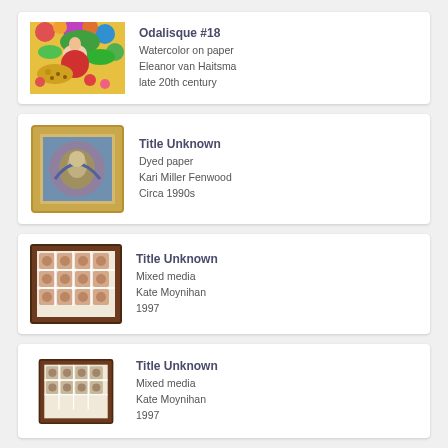[Figure (illustration): Artwork listing card: Odalisque #18, colorful watercolor painting of a woman seated with a leopard among flowers]
Odalisque #18
Watercolor on paper
Eleanor van Haitsma
late 20th century
[Figure (illustration): Artwork listing card: Title Unknown, dyed paper artwork in gold frame]
Title Unknown
Dyed paper
Kari Miller Fenwood
Circa 1990s
[Figure (illustration): Artwork listing card: Title Unknown, mixed media grid artwork in brown frame]
Title Unknown
Mixed media
Kate Moynihan
1997
[Figure (illustration): Artwork listing card: Title Unknown, mixed media grid artwork in brown frame (second)]
Title Unknown
Mixed media
Kate Moynihan
1997